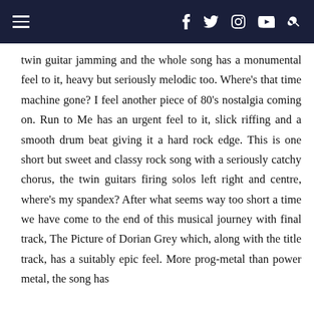Navigation header with hamburger menu, Facebook, Twitter, Instagram, YouTube, and Search icons
twin guitar jamming and the whole song has a monumental feel to it, heavy but seriously melodic too. Where's that time machine gone? I feel another piece of 80's nostalgia coming on. Run to Me has an urgent feel to it, slick riffing and a smooth drum beat giving it a hard rock edge. This is one short but sweet and classy rock song with a seriously catchy chorus, the twin guitars firing solos left right and centre, where's my spandex? After what seems way too short a time we have come to the end of this musical journey with final track, The Picture of Dorian Grey which, along with the title track, has a suitably epic feel. More prog-metal than power metal, the song has